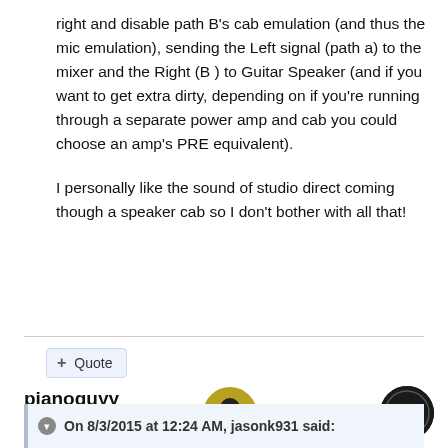right and disable path B's cab emulation (and thus the mic emulation), sending the Left signal (path a) to the mixer and the Right (B ) to Guitar Speaker (and if you want to get extra dirty, depending on if you're running through a separate power amp and cab you could choose an amp's PRE equivalent).
I personally like the sound of studio direct coming though a speaker cab so I don't bother with all that!
+ Quote
[Figure (photo): User avatar for pianoguyy showing a circular profile photo with a badge icon]
pianoguyy
Posted August 3, 2015
On 8/3/2015 at 12:24 AM, jasonk931 said: